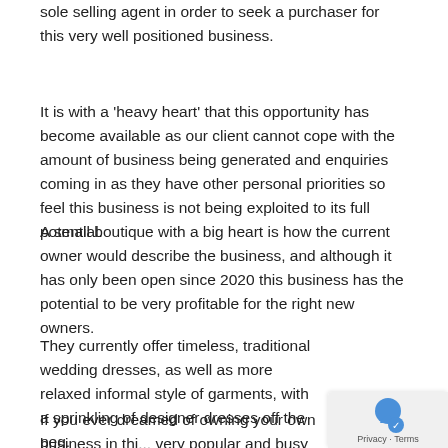sole selling agent in order to seek a purchaser for this very well positioned business.
It is with a 'heavy heart' that this opportunity has become available as our client cannot cope with the amount of business being generated and enquiries coming in as they have other personal priorities so feel this business is not being exploited to its full potential.
A small boutique with a big heart is how the current owner would describe the business, and although it has only been open since 2020 this business has the potential to be very profitable for the right new owners.
They currently offer timeless, traditional wedding dresses, as well as more relaxed informal style of garments, with a sprinkling of designer dresses off the peg.
If you ever dreamed of owning your own business in thi... very popular and busy industry then this is the one for you,